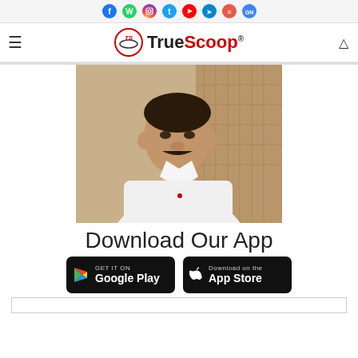Social media icons: Facebook, WhatsApp, Instagram, Twitter, YouTube, Telegram, News, Google News
[Figure (logo): TrueScoop logo with TS circular emblem and TrueScoop text with registered trademark]
[Figure (photo): Photo of a man in white shirt with mustache seated at a desk]
Download Our App
[Figure (infographic): Google Play and App Store download buttons on black backgrounds]